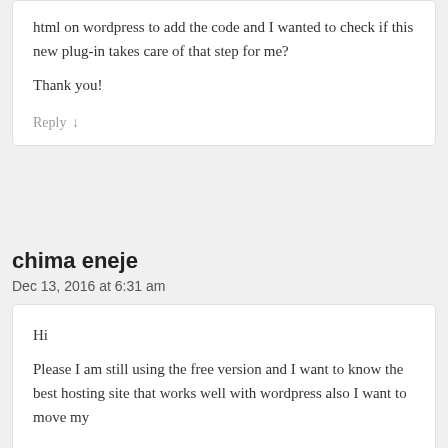html on wordpress to add the code and I wanted to check if this new plug-in takes care of that step for me?

Thank you!
Reply ↓
chima eneje
Dec 13, 2016 at 6:31 am
Hi
Please I am still using the free version and I want to know the best hosting site that works well with wordpress also I want to move my